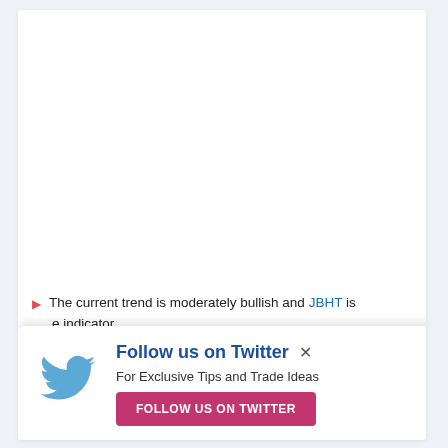The current trend is moderately bullish and JBHT is [partially obscured] indicator
[Figure (other): Follow us on Twitter popup overlay with Twitter bird logo, heading 'Follow us on Twitter', subtitle 'For Exclusive Tips and Trade Ideas', and a pink button 'FOLLOW US ON TWITTER']